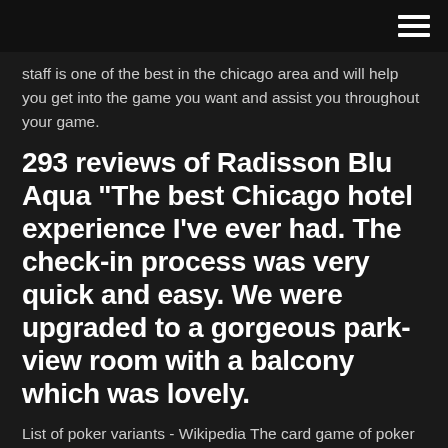≡
staff is one of the best in the chicago area and will help you get into the game you want and assist you throughout your game.
293 reviews of Radisson Blu Aqua "The best Chicago hotel experience I've ever had. The check-in process was very quick and easy. We were upgraded to a gorgeous park-view room with a balcony which was lovely.
List of poker variants - Wikipedia The card game of poker has many variations, most of which were created in the